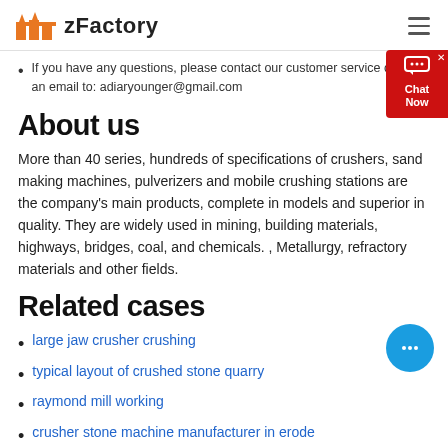zFactory
If you have any questions, please contact our customer service or send an email to: adiaryounger@gmail.com
About us
More than 40 series, hundreds of specifications of crushers, sand making machines, pulverizers and mobile crushing stations are the company's main products, complete in models and superior in quality. They are widely used in mining, building materials, highways, bridges, coal, and chemicals. , Metallurgy, refractory materials and other fields.
Related cases
large jaw crusher crushing
typical layout of crushed stone quarry
raymond mill working
crusher stone machine manufacturer in erode